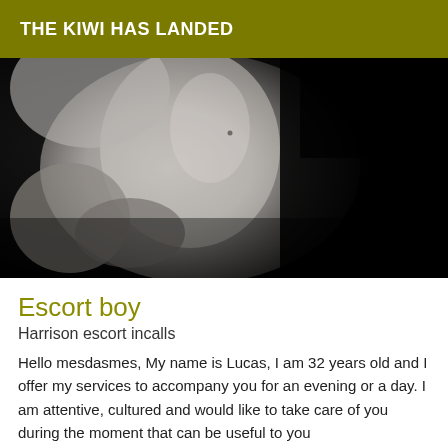THE KIWI HAS LANDED
[Figure (photo): Black and white artistic photo of a male torso against a dark background, hands visible at the sides]
Escort boy
Harrison escort incalls
Hello mesdasmes, My name is Lucas, I am 32 years old and I offer my services to accompany you for an evening or a day. I am attentive, cultured and would like to take care of you during the moment that can be useful to you